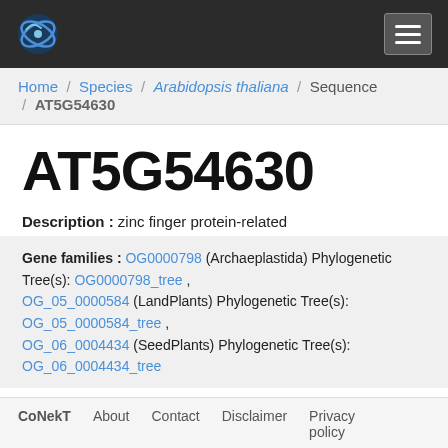CoNekT navigation bar with logo and hamburger menu
Home / Species / Arabidopsis thaliana / Sequence / AT5G54630
AT5G54630
Description : zinc finger protein-related
Gene families : OG0000798 (Archaeplastida) Phylogenetic Tree(s): OG0000798_tree , OG_05_0000584 (LandPlants) Phylogenetic Tree(s): OG_05_0000584_tree , OG_06_0004434 (SeedPlants) Phylogenetic Tree(s): OG_06_0004434_tree
Sequence : coding (download), protein (download)
CoNekT  About  Contact  Disclaimer  Privacy policy